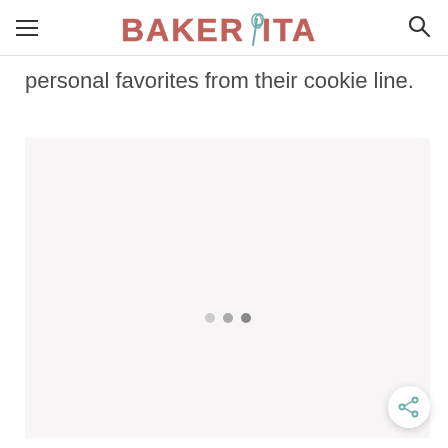BAKERITA
personal favorites from their cookie line.
[Figure (photo): Large image placeholder with loading dots, light pinkish-gray background, currently loading]
[Figure (other): Share icon button (circular white button with share symbol) in bottom-right corner]